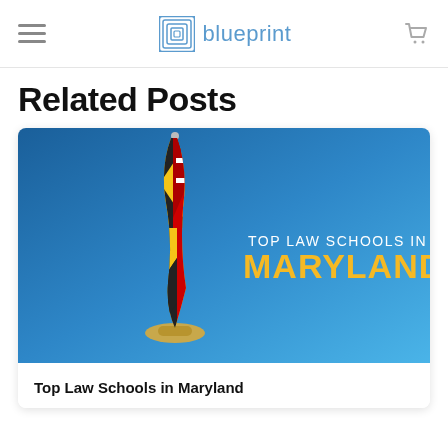blueprint
Related Posts
[Figure (photo): Maryland state flag on a pole against a blue gradient background with text 'TOP LAW SCHOOLS IN MARYLAND' in white and gold lettering]
Top Law Schools in Maryland